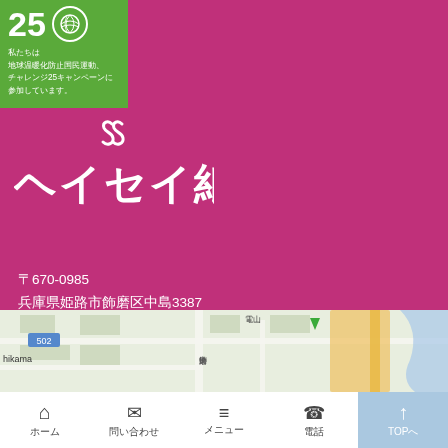[Figure (logo): Green Challenge 25 campaign badge with '25' and a leaf/globe icon, with text in Japanese about participating in the national movement to prevent global warming]
私たちは
地球温暖化防止国民運動、
チャレンジ25キャンペーンに
参加しています。
[Figure (logo): Heisei Shiko (ヘイセイ紙工) company logo in white on magenta background with stylized 'hs' icon above]
〒670-0985
兵庫県姫路市飾磨区中島3387
TEL：079-234-7968
FAX：079-234-7969
山陽電車飾磨駅より徒歩18分
姫路バイパス/姫路南出口より車14分
[Figure (map): Partial Google Maps screenshot showing the area around Hikama (飾磨) with route 502 visible]
ホーム　問い合わせ　メニュー　電話　TOPへ